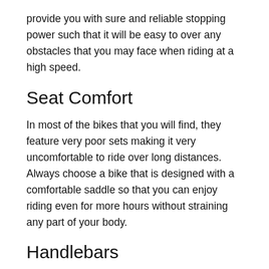provide you with sure and reliable stopping power such that it will be easy to over any obstacles that you may face when riding at a high speed.
Seat Comfort
In most of the bikes that you will find, they feature very poor sets making it very uncomfortable to ride over long distances. Always choose a bike that is designed with a comfortable saddle so that you can enjoy riding even for more hours without straining any part of your body.
Handlebars
Different bikes also come with different handlebar styles. A bike that is designed with high-rise handlebars makes it easy for you to sit in an upright posture. Again, drop handlebars that are common on most mountain and road bikes provide